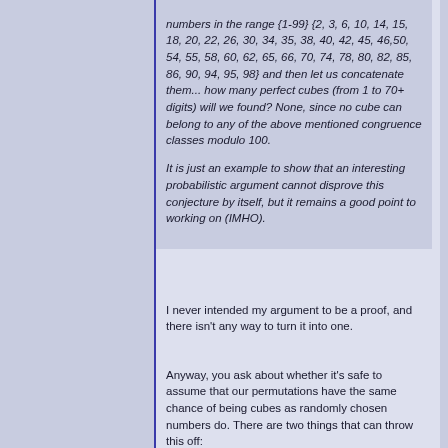numbers in the range {1-99} {2, 3, 6, 10, 14, 15, 18, 20, 22, 26, 30, 34, 35, 38, 40, 42, 45, 46,50, 54, 55, 58, 60, 62, 65, 66, 70, 74, 78, 80, 82, 85, 86, 90, 94, 95, 98} and then let us concatenate them... how many perfect cubes (from 1 to 70+ digits) will we found? None, since no cube can belong to any of the above mentioned congruence classes modulo 100.
It is just an example to show that an interesting probabilistic argument cannot disprove this conjecture by itself, but it remains a good point to working on (IMHO).
I never intended my argument to be a proof, and there isn't any way to turn it into one.
Anyway, you ask about whether it's safe to assume that our permutations have the same chance of being cubes as randomly chosen numbers do. There are two things that can throw this off:
1. Cubes are not equally...